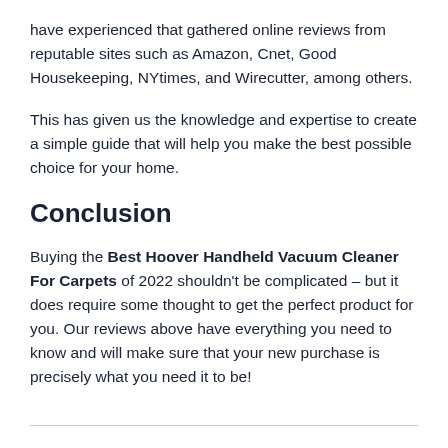have experienced that gathered online reviews from reputable sites such as Amazon, Cnet, Good Housekeeping, NYtimes, and Wirecutter, among others.
This has given us the knowledge and expertise to create a simple guide that will help you make the best possible choice for your home.
Conclusion
Buying the Best Hoover Handheld Vacuum Cleaner For Carpets of 2022 shouldn't be complicated – but it does require some thought to get the perfect product for you. Our reviews above have everything you need to know and will make sure that your new purchase is precisely what you need it to be!